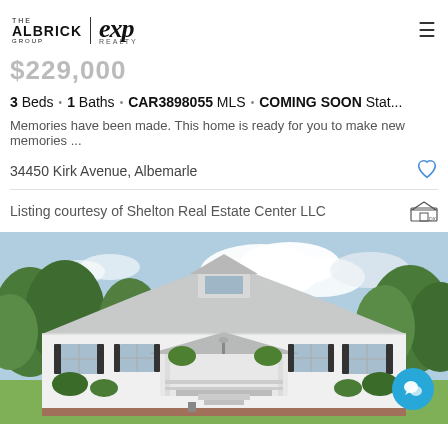THE ALBRICK GROUP | exp REALTY
$229,000
3 Beds · 1 Baths · CAR3898055 MLS · COMING SOON Stat...
Memories have been made. This home is ready for you to make new memories ...
34450 Kirk Avenue, Albemarle
Listing courtesy of Shelton Real Estate Center LLC
[Figure (photo): Exterior photo of a white ranch-style home with a covered front porch, dormer, green trees in background, blue sky with clouds]